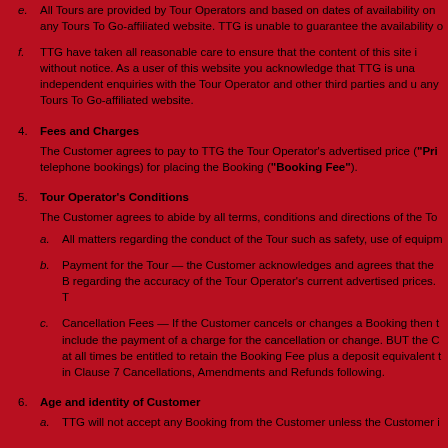e. All Tours are provided by Tour Operators and based on dates of availability on any Tours To Go-affiliated website. TTG is unable to guarantee the availability of
f. TTG have taken all reasonable care to ensure that the content of this site is accurate but it may be changed without notice. As a user of this website you acknowledge that TTG is unable to make independent enquiries with the Tour Operator and other third parties and undertakes no enquiries on any Tours To Go-affiliated website.
4. Fees and Charges
The Customer agrees to pay to TTG the Tour Operator's advertised price ("Price") plus a fee for (telephone bookings) for placing the Booking ("Booking Fee").
5. Tour Operator's Conditions
The Customer agrees to abide by all terms, conditions and directions of the Tour
a. All matters regarding the conduct of the Tour such as safety, use of equipm
b. Payment for the Tour — the Customer acknowledges and agrees that the B regarding the accuracy of the Tour Operator's current advertised prices. TT
c. Cancellation Fees — If the Customer cancels or changes a Booking then t include the payment of a charge for the cancellation or change. BUT the C at all times be entitled to retain the Booking Fee plus a deposit equivalent t in Clause 7 Cancellations, Amendments and Refunds following.
6. Age and identity of Customer
a. TTG will not accept any Booking from the Customer unless the Customer i